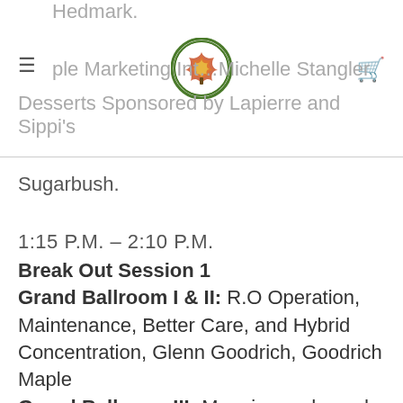Hedmark.
Maple Marketing Int… Michelle Stangler
Desserts Sponsored by Lapierre and Sippi's
Sugarbush.
1:15 P.M. – 2:10 P.M.
Break Out Session 1
Grand Ballroom I & II: R.O Operation, Maintenance, Better Care, and Hybrid Concentration, Glenn Goodrich, Goodrich Maple
Grand Ballroom III: Mapping and woods layout for tubbing system, Jim Adamski/CDL
*Central Ballroom I: Regulations in Depth, Stefan Boerboom WDATCP